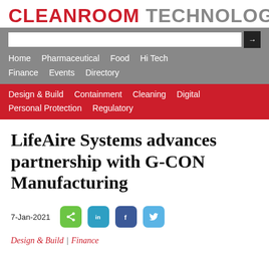CLEANROOM TECHNOLOGY
[Figure (screenshot): Navigation bar with search box and navigation links: Home, Pharmaceutical, Food, Hi Tech, Finance, Events, Directory (gray bar) and Design & Build, Containment, Cleaning, Digital, Personal Protection, Regulatory (red bar)]
LifeAire Systems advances partnership with G-CON Manufacturing
7-Jan-2021
Design & Build | Finance